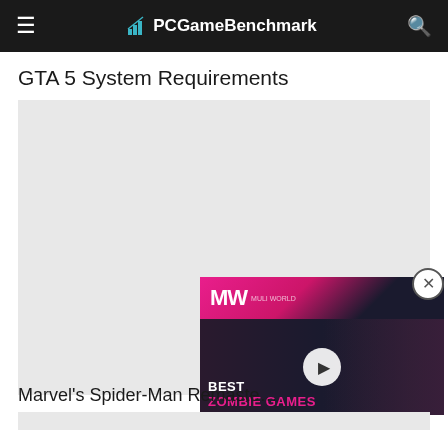PCGameBenchmark
GTA 5 System Requirements
[Figure (other): Large grey placeholder content box]
[Figure (other): Video advertisement overlay showing 'BEST ZOMBIE GAMES' with MW logo and play button, featuring a zombie game character]
Marvel's Spider-Man Remaste…